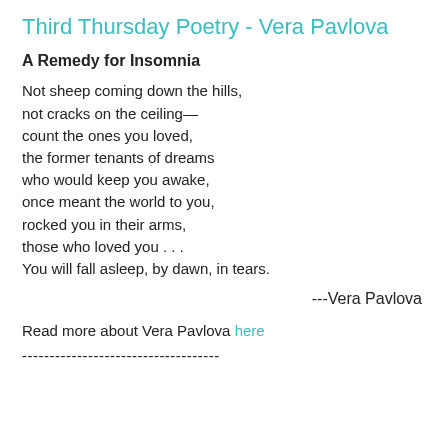Third Thursday Poetry - Vera Pavlova
A Remedy for Insomnia
Not sheep coming down the hills,
not cracks on the ceiling—
count the ones you loved,
the former tenants of dreams
who would keep you awake,
once meant the world to you,
rocked you in their arms,
those who loved you . . .
You will fall asleep, by dawn, in tears.
---Vera Pavlova
Read more about Vera Pavlova here
------------------------------------